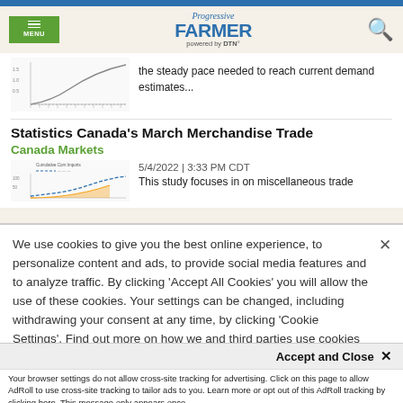Progressive Farmer powered by DTN
the steady pace needed to reach current demand estimates...
Statistics Canada's March Merchandise Trade
Canada Markets
5/4/2022 | 3:33 PM CDT
This study focuses in on miscellaneous trade
We use cookies to give you the best online experience, to personalize content and ads, to provide social media features and to analyze traffic. By clicking 'Accept All Cookies' you will allow the use of these cookies. Your settings can be changed, including withdrawing your consent at any time, by clicking 'Cookie Settings'. Find out more on how we and third parties use cookies in our Cookie Policy
Accept and Close ×
Your browser settings do not allow cross-site tracking for advertising. Click on this page to allow AdRoll to use cross-site tracking to tailor ads to you. Learn more or opt out of this AdRoll tracking by clicking here. This message only appears once.